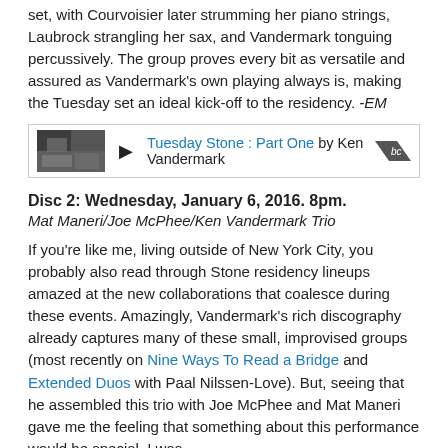set, with Courvoisier later strumming her piano strings, Laubrock strangling her sax, and Vandermark tonguing percussively. The group proves every bit as versatile and assured as Vandermark's own playing always is, making the Tuesday set an ideal kick-off to the residency. -EM
[Figure (other): Music player widget showing album thumbnail, play button, track title 'Tuesday Stone : Part One by Ken Vandermark' and Bandcamp logo]
Disc 2: Wednesday, January 6, 2016. 8pm.
Mat Maneri/Joe McPhee/Ken Vandermark Trio
If you're like me, living outside of New York City, you probably also read through Stone residency lineups amazed at the new collaborations that coalesce during these events. Amazingly, Vandermark's rich discography already captures many of these small, improvised groups (most recently on Nine Ways To Read a Bridge and Extended Duos with Paal Nilssen-Love). But, seeing that he assembled this trio with Joe McPhee and Mat Maneri gave me the feeling that something about this performance would be special. I was